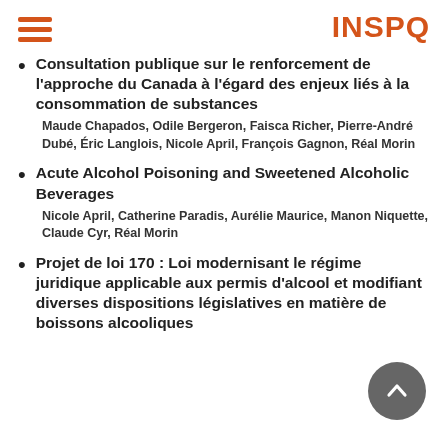INSPQ
Consultation publique sur le renforcement de l'approche du Canada à l'égard des enjeux liés à la consommation de substances
Maude Chapados, Odile Bergeron, Faisca Richer, Pierre-André Dubé, Éric Langlois, Nicole April, François Gagnon, Réal Morin
Acute Alcohol Poisoning and Sweetened Alcoholic Beverages
Nicole April, Catherine Paradis, Aurélie Maurice, Manon Niquette, Claude Cyr, Réal Morin
Projet de loi 170 : Loi modernisant le régime juridique applicable aux permis d'alcool et modifiant diverses dispositions législatives en matière de boissons alcooliques